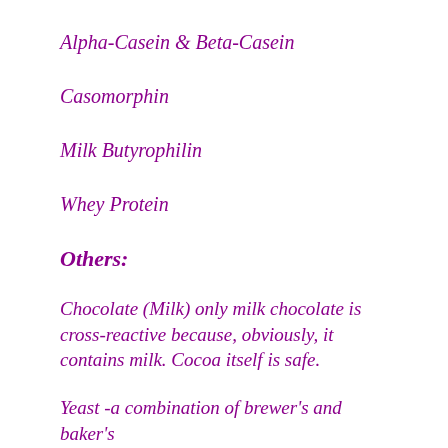Alpha-Casein & Beta-Casein
Casomorphin
Milk Butyrophilin
Whey Protein
Others:
Chocolate (Milk) only milk chocolate is cross-reactive because, obviously, it contains milk. Cocoa itself is safe.
Yeast -a combination of brewer's and baker's